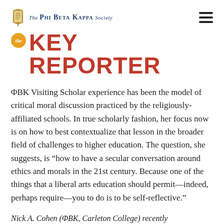The Phi Beta Kappa Society
The KEY REPORTER
ΦBK Visiting Scholar experience has been the model of critical moral discussion practiced by the religiously-affiliated schools. In true scholarly fashion, her focus now is on how to best contextualize that lesson in the broader field of challenges to higher education. The question, she suggests, is “how to have a secular conversation around ethics and morals in the 21st century. Because one of the things that a liberal arts education should permit—indeed, perhaps require—you to do is to be self-reflective.”
Nick A. Cohen (ΦBK, Carleton College) recently